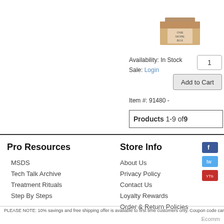[Figure (photo): Product box image (partially visible) in the top right area of the page]
Availability: In Stock
Sale: Login
1
Add to Cart
Item #: 91480 -
Products 1-9 of 9
Pro Resources
Store Info
MSDS
Tech Talk Archive
Treatment Rituals
Step By Steps
About Us
Privacy Policy
Contact Us
Loyalty Rewards
Order & Return Policies
PLEASE NOTE: 10% savings and free shipping offer is available to first time customers only. Coupon code can...
Ecomm...